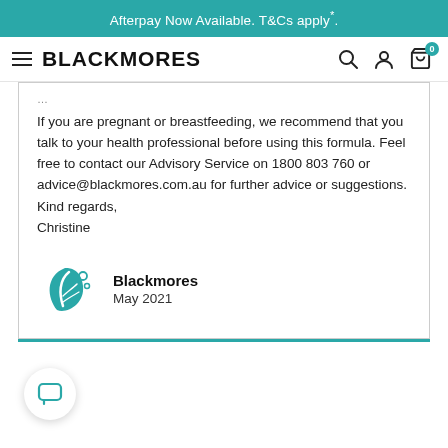Afterpay Now Available. T&Cs apply*.
BLACKMORES
If you are pregnant or breastfeeding, we recommend that you talk to your health professional before using this formula. Feel free to contact our Advisory Service on 1800 803 760 or advice@blackmores.com.au for further advice or suggestions.
Kind regards,
Christine
Blackmores
May 2021
[Figure (logo): Blackmores teal leaf logo with circular decorative elements]